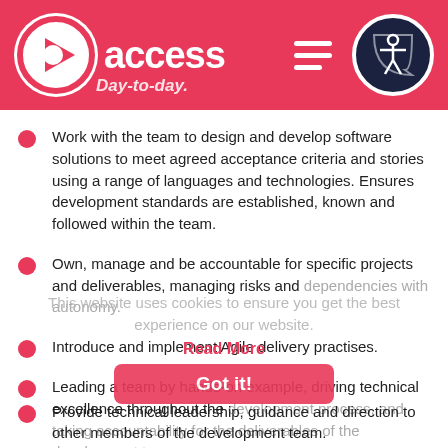access
Work with the team to design and develop software solutions to meet agreed acceptance criteria and stories using a range of languages and technologies. Ensures development standards are established, known and followed within the team.
Own, manage and be accountable for specific projects and deliverables, managing risks and dependencies with autonomy.
Introduce and implement Agile delivery practises.
Leading a team by hands-on example, driving technical excellence throughout the development process, and taking accountability for the deliverables of the development team.
Provide technical leadership, guidance and direction to other members of the development team.